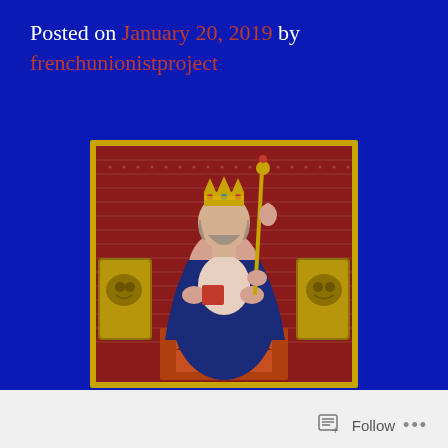Posted on January 20, 2019 by frenchunionistproject
[Figure (illustration): Medieval illuminated manuscript illustration of a crowned king seated on a throne, holding a scepter, wearing blue robes, with golden lion-head armrests, against a red patterned background with gold border.]
Follow ...